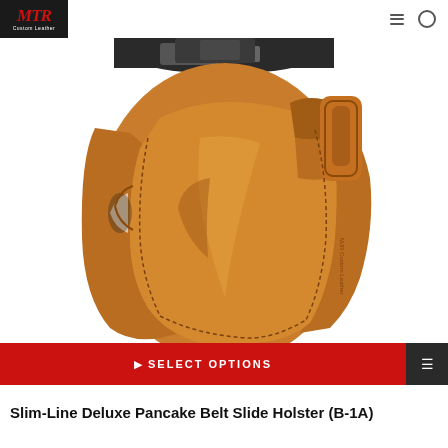[Figure (logo): MTR Custom Leather logo — dark background with red script MTR text and white 'Custom Leather' subtitle]
[Figure (photo): Tan/cognac leather pancake belt slide holster holding a dark handgun, showing detailed stitching and belt slots. MTR Custom Leather branding visible on the holster body.]
SELECT OPTIONS
Slim-Line Deluxe Pancake Belt Slide Holster (B-1A)